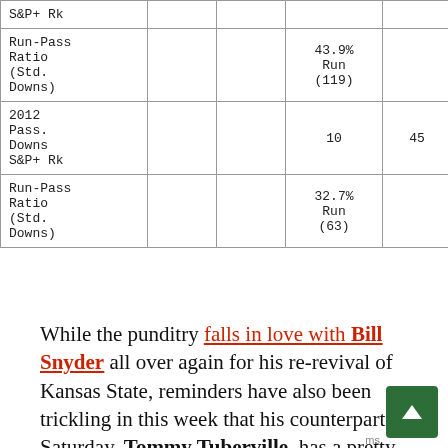|  |  |  |  |  |  |  |
| --- | --- | --- | --- | --- | --- | --- |
| S&P+ Rk |  |  |  |  |  |  |
| Run-Pass Ratio (Std. Downs) |  |  | 43.9% Run (119) |  |  | 74 |
| 2012 Pass. Downs S&P+ Rk |  |  | 10 | 45 | 21 |  |
| Run-Pass Ratio (Std. Downs) |  |  | 32.7% Run (63) |  |  | 46 |
While the punditry falls in love with Bill Snyder all over again for his re-revival of Kansas State, reminders have also been trickling in this week that his counterpart Saturday, Tommy Tuberville, has a pretty good track record as a long shot in his own right. Since 2000, Tuberville's teams at Texas